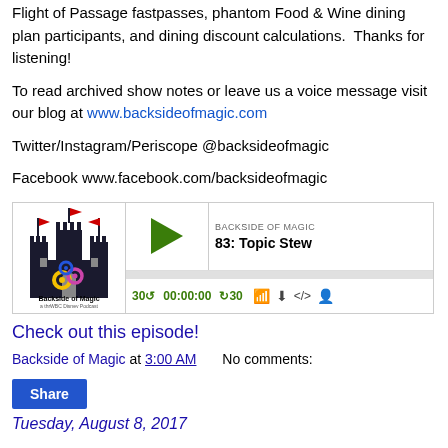Flight of Passage fastpasses, phantom Food & Wine dining plan participants, and dining discount calculations.  Thanks for listening!
To read archived show notes or leave us a voice message visit our blog at www.backsideofmagic.com
Twitter/Instagram/Periscope @backsideofmagic
Facebook www.facebook.com/backsideofmagic
[Figure (screenshot): Podcast player widget showing 'Backside of Magic - 83: Topic Stew' with play button, skip controls showing 30 second rewind and forward, timestamp 00:00:00, and icons for RSS, download, embed, and settings. Podcast logo shows a castle silhouette with colorful gears.]
Check out this episode!
Backside of Magic at 3:00 AM    No comments:
Share
Tuesday, August 8, 2017